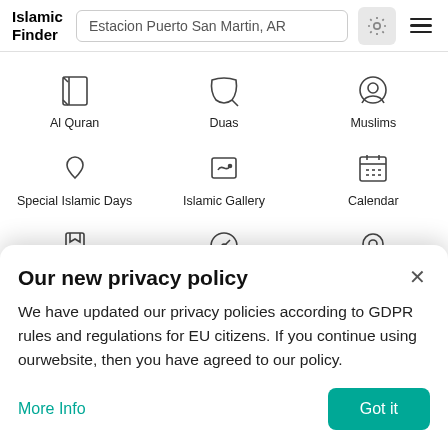Islamic Finder — Estacion Puerto San Martin, AR
[Figure (screenshot): Navigation menu icons grid: Al Quran, Duas, Muslims, Special Islamic Days, Islamic Gallery, Calendar, Hadith, Qibla Direction, Islamic Places]
Our new privacy policy
We have updated our privacy policies according to GDPR rules and regulations for EU citizens. If you continue using ourwebsite, then you have agreed to our policy.
More Info
Got it